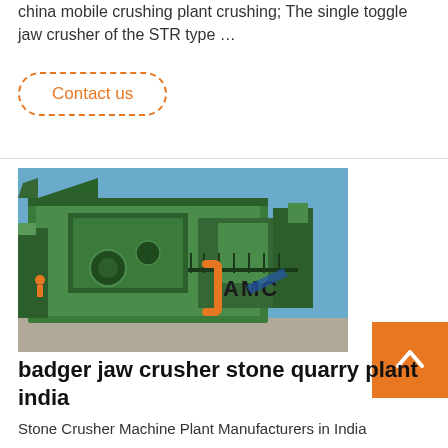china mobile crushing plant crushing; The single toggle jaw crusher of the STR type …
Contact us
[Figure (photo): Green mobile jaw crusher machinery on a concrete platform against a blue sky, with an orange and blue AMC logo watermark in the lower right corner.]
badger jaw crusher stone quarry plant india
Stone Crusher Machine Plant Manufacturers in India